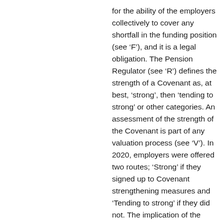for the ability of the employers collectively to cover any shortfall in the funding position (see ‘F’), and it is a legal obligation. The Pension Regulator (see ‘R’) defines the strength of a Covenant as, at best, ‘strong’, then ‘tending to strong’ or other categories. An assessment of the strength of the Covenant is part of any valuation process (see ‘V’). In 2020, employers were offered two routes; ‘Strong’ if they signed up to Covenant strengthening measures and ‘Tending to strong’ if they did not. The implication of the latter would be significantly higher contribution rates (see ‘C’).